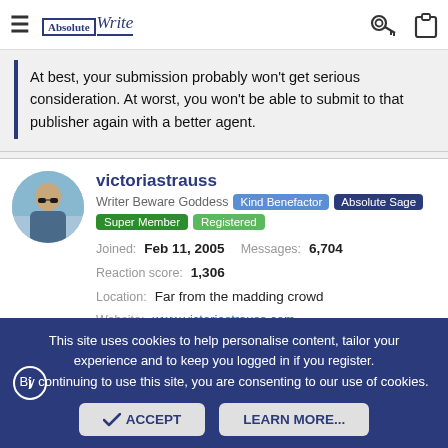AbsoluteWrite navigation bar with logo and icons
At best, your submission probably won't get serious consideration. At worst, you won't be able to submit to that publisher again with a better agent.
victoriastrauss
Writer Beware Goddess | Kind Benefactor | Absolute Sage | Super Member | Registered
Joined: Feb 11, 2005   Messages: 6,704
Reaction score: 1,306
Location: Far from the madding crowd
Website: www.victoriastrauss.com
This site uses cookies to help personalise content, tailor your experience and to keep you logged in if you register. By continuing to use this site, you are consenting to our use of cookies.